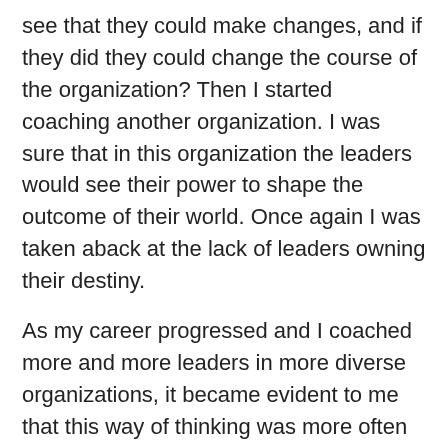see that they could make changes, and if they did they could change the course of the organization? Then I started coaching another organization. I was sure that in this organization the leaders would see their power to shape the outcome of their world. Once again I was taken aback at the lack of leaders owning their destiny.
As my career progressed and I coached more and more leaders in more diverse organizations, it became evident to me that this way of thinking was more often the norm than not. Occasionally though, I would come across a leader who was different, one that saw they could control their own destiny. That whatever happened, the only thing that mattered was how they reacted, or chose to react to the event. And through our work together, when they focused on how they were showing up, when they controlled their moods/emotions, their somatic body, and the conversations that they had, they became a more effective leader.